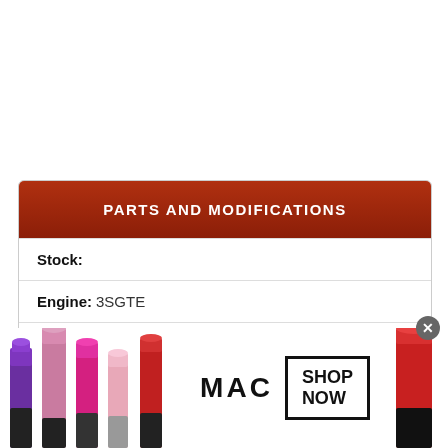PARTS AND MODIFICATIONS
Stock:
Engine:  3SGTE
Turbos:  6785 Precision
Supercharger:
[Figure (photo): MAC cosmetics advertisement banner showing lipstick tubes and SHOP NOW button]